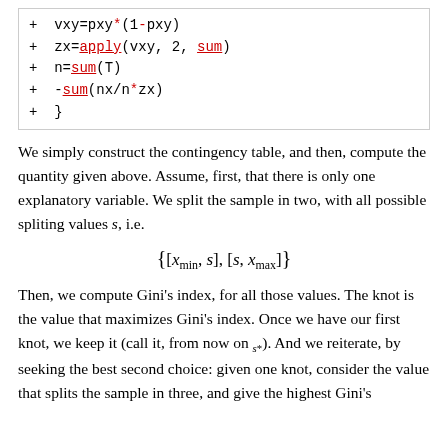+ vxy=pxy*(1-pxy)
+ zx=apply(vxy, 2, sum)
+ n=sum(T)
+ -sum(nx/n*zx)
+ }
We simply construct the contingency table, and then, compute the quantity given above. Assume, first, that there is only one explanatory variable. We split the sample in two, with all possible spliting values s, i.e.
Then, we compute Gini's index, for all those values. The knot is the value that maximizes Gini's index. Once we have our first knot, we keep it (call it, from now on s*). And we reiterate, by seeking the best second choice: given one knot, consider the value that splits the sample in three, and give the highest Gini's